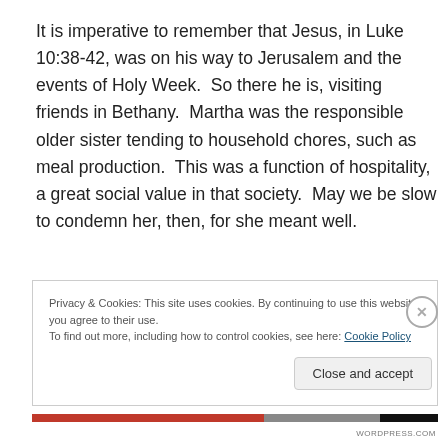It is imperative to remember that Jesus, in Luke 10:38-42, was on his way to Jerusalem and the events of Holy Week.  So there he is, visiting friends in Bethany.  Martha was the responsible older sister tending to household chores, such as meal production.  This was a function of hospitality, a great social value in that society.  May we be slow to condemn her, then, for she meant well.
Privacy & Cookies: This site uses cookies. By continuing to use this website, you agree to their use.
To find out more, including how to control cookies, see here: Cookie Policy